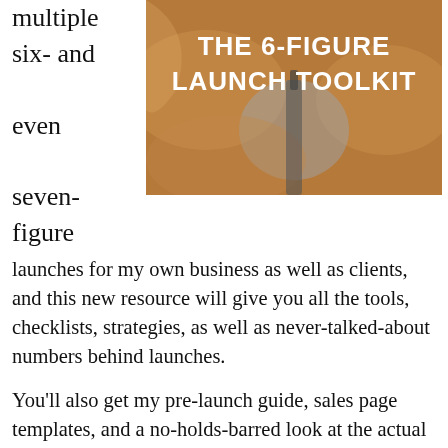multiple six- and even seven-figure
[Figure (illustration): Book cover with brown/amber background showing title 'THE 6-FIGURE LAUNCH TOOLKIT' in bold white text with decorative landscape illustration]
launches for my own business as well as clients, and this new resource will give you all the tools, checklists, strategies, as well as never-talked-about numbers behind launches.
You'll also get my pre-launch guide, sales page templates, and a no-holds-barred look at the actual numbers and strategies behind my most recent launch, which did over $150,000 in sales. Note: this product will release Monday July 18th and